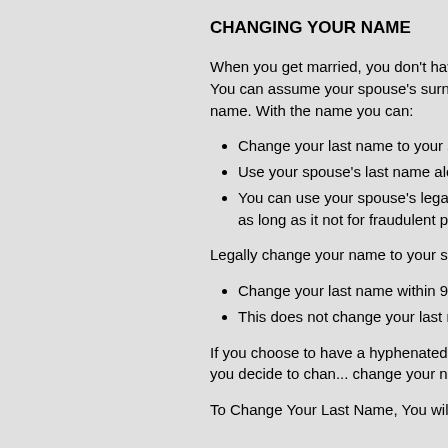CHANGING YOUR NAME
When you get married, you don't have to change your name. You can assume your spouse's surname, or keep your own name. With the name you can:
Change your last name to your spouse's last name
Use your spouse's last name along with your own
You can use your spouse's legal last name informally as long as it not for fraudulent purposes
Legally change your name to your spouse's last name:
Change your last name within 90 days of marriage
This does not change your last name on other documents
If you choose to have a hyphenated last name, you can choose the order that they appear. If you decide to change your name, you will need to change your name with all relevant government agencies.
To Change Your Last Name, You will Need: